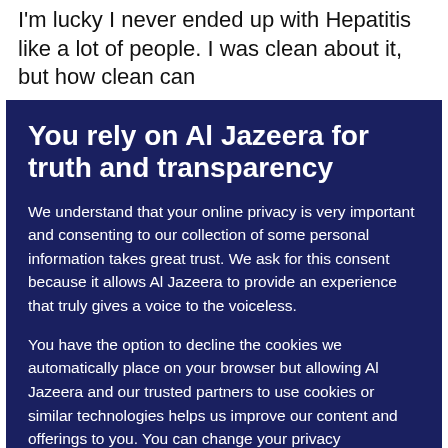I'm lucky I never ended up with Hepatitis like a lot of people. I was clean about it, but how clean can
You rely on Al Jazeera for truth and transparency
We understand that your online privacy is very important and consenting to our collection of some personal information takes great trust. We ask for this consent because it allows Al Jazeera to provide an experience that truly gives a voice to the voiceless.

You have the option to decline the cookies we automatically place on your browser but allowing Al Jazeera and our trusted partners to use cookies or similar technologies helps us improve our content and offerings to you. You can change your privacy preferences at any time by selecting 'Cookie preferences' at the bottom of your screen. To learn more, please view our Cookie Policy.